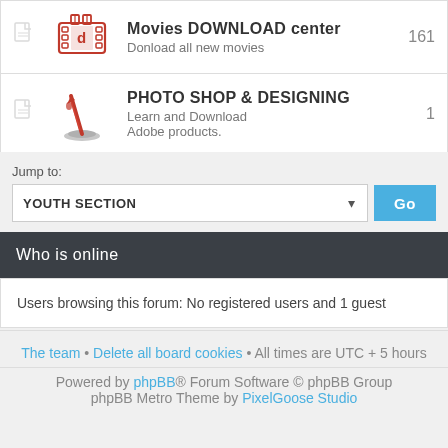| Icon | Forum | Posts |
| --- | --- | --- |
| [doc icon] [film icon] | Movies DOWNLOAD center
Donload all new movies | 161 |
| [doc icon] [pen icon] | PHOTO SHOP & DESIGNING
Learn and Download Adobe products. | 1 |
Jump to:
YOUTH SECTION
Who is online
Users browsing this forum: No registered users and 1 guest
The team • Delete all board cookies • All times are UTC + 5 hours
Powered by phpBB® Forum Software © phpBB Group phpBB Metro Theme by PixelGoose Studio